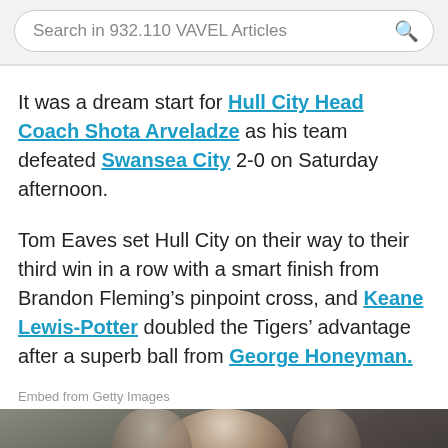Search in 932.110 VAVEL Articles
It was a dream start for Hull City Head Coach Shota Arveladze as his team defeated Swansea City 2-0 on Saturday afternoon.
Tom Eaves set Hull City on their way to their third win in a row with a smart finish from Brandon Fleming’s pinpoint cross, and Keane Lewis-Potter doubled the Tigers’ advantage after a superb ball from George Honeyman.
Embed from Getty Images
[Figure (photo): A sports photograph from Getty Images showing players on a football pitch, partially visible at the bottom of the page.]